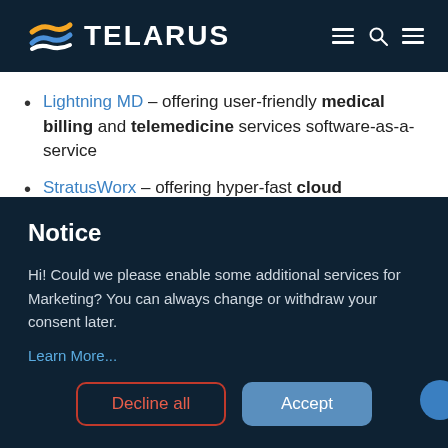TELARUS
Lightning MD – offering user-friendly medical billing and telemedicine services software-as-a-service
StratusWorx – offering hyper-fast cloud workspace solutions that help
Notice
Hi! Could we please enable some additional services for Marketing? You can always change or withdraw your consent later.
Learn More...